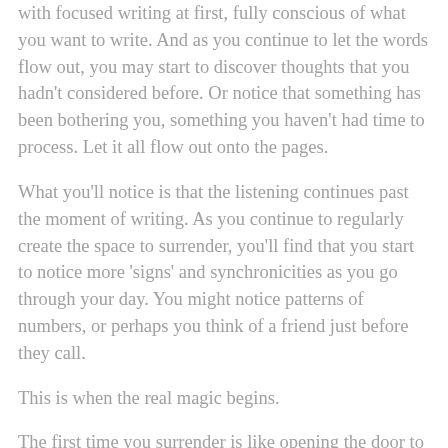with focused writing at first, fully conscious of what you want to write. And as you continue to let the words flow out, you may start to discover thoughts that you hadn't considered before. Or notice that something has been bothering you, something you haven't had time to process. Let it all flow out onto the pages.
What you'll notice is that the listening continues past the moment of writing. As you continue to regularly create the space to surrender, you'll find that you start to notice more 'signs' and synchronicities as you go through your day. You might notice patterns of numbers, or perhaps you think of a friend just before they call.
This is when the real magic begins.
The first time you surrender is like opening the door to what else can be possible in your life. And once you get a taste of it, and discover how wonderful this inner